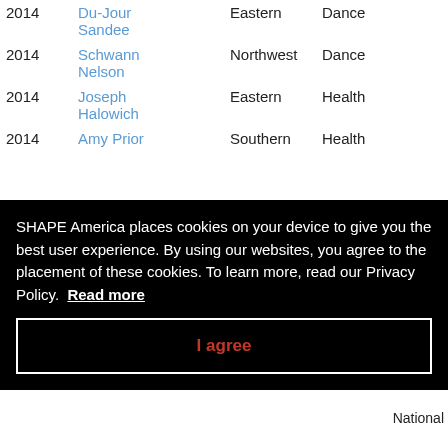| Year | Name | Region | Type | Award |
| --- | --- | --- | --- | --- |
| 2014 | Du-Jour Sandee | Eastern | Dance |  |
| 2014 | Schwann Nelson | Northwest | Dance |  |
| 2014 | Joseph Halowich | Eastern | Health |  |
| 2014 | Amy Prior | Southern | Health | National…er of…ar |
SHAPE America places cookies on your device to give you the best user experience. By using our websites, you agree to the placement of these cookies. To learn more, read our Privacy Policy. Read more
I agree